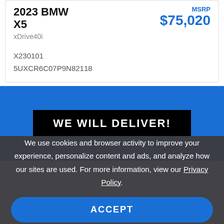2023 BMW X5
xDrive40i
MSRP $75,020
X230101
5UXCR6C07P9N82118
WE WILL DELIVER!
We use cookies and browser activity to improve your experience, personalize content and ads, and analyze how our sites are used. For more information, view our Privacy Policy.
ACCEPT